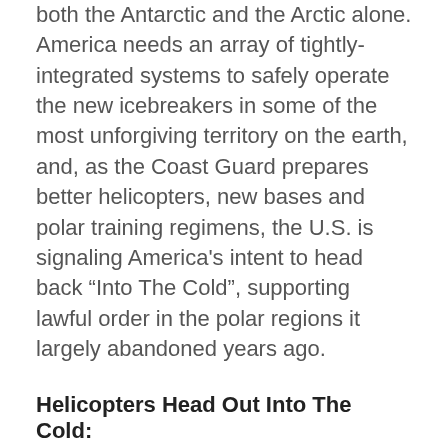both the Antarctic and the Arctic alone. America needs an array of tightly-integrated systems to safely operate the new icebreakers in some of the most unforgiving territory on the earth, and, as the Coast Guard prepares better helicopters, new bases and polar training regimens, the U.S. is signaling America's intent to head back “Into The Cold”, supporting lawful order in the polar regions it largely abandoned years ago.
Helicopters Head Out Into The Cold:
As the U.S. Coast Guard prepares for future polar operations, the logistical support pieces required to support Arctic and Antarctic activities are gradually coming into view. One big part—aviation support—is being addressed by the service-wide supplementation of small, short-ranged MH-65